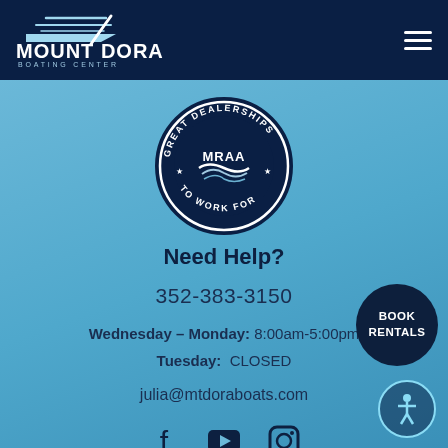[Figure (logo): Mount Dora Boating Center & Marina logo with boat graphic on dark navy header]
[Figure (logo): MRAA Great Dealerships To Work For circular badge/seal]
Need Help?
352-383-3150
Wednesday – Monday: 8:00am-5:00pm
Tuesday: CLOSED
julia@mtdoraboats.com
[Figure (illustration): Social media icons: Facebook, YouTube, Instagram]
[Figure (illustration): BOOK RENTALS dark circle button]
[Figure (illustration): Accessibility icon circle button]